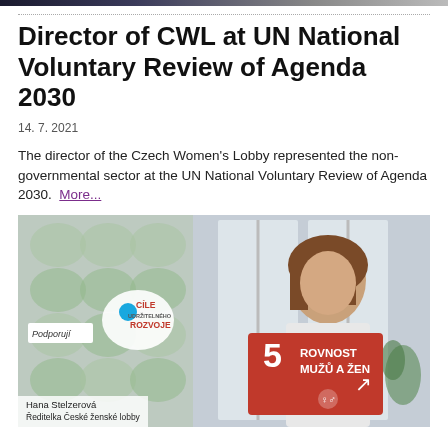Director of CWL at UN National Voluntary Review of Agenda 2030
14. 7. 2021
The director of the Czech Women's Lobby represented the non-governmental sector at the UN National Voluntary Review of Agenda 2030.  More...
[Figure (photo): Woman holding a red sign reading '5 ROVNOST MUŽŮ A ŽEN' (SDG 5 Gender Equality), with a decorative background and an 'OCÍLE ROZVOJE' (Sustainable Development Goals) logo visible. Caption reads 'Hana Stelzerová, Ředitelka České ženské lobby'.]